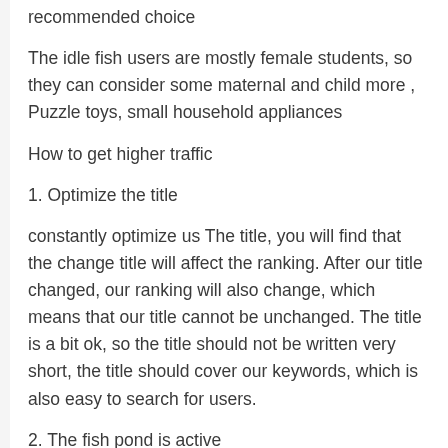recommended choice
The idle fish users are mostly female students, so they can consider some maternal and child more , Puzzle toys, small household appliances
How to get higher traffic
1. Optimize the title
constantly optimize us The title, you will find that the change title will affect the ranking. After our title changed, our ranking will also change, which means that our title cannot be unchanged. The title is a bit ok, so the title should not be written very short, the title should cover our keywords, which is also easy to search for users.
2. The fish pond is active
Fish pond is a small community of idle fish, users can communicate in more focused small circles in the fish pond. According to the official data of the idle fish, the goods in the fish pond are more than other entrances or